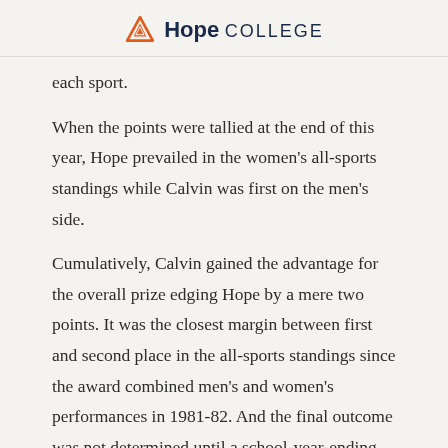Hope College
each sport.
When the points were tallied at the end of this year, Hope prevailed in the women's all-sports standings while Calvin was first on the men's side.
Cumulatively, Calvin gained the advantage for the overall prize edging Hope by a mere two points. It was the closest margin between first and second place in the all-sports standings since the award combined men's and women's performances in 1981-82. And the final outcome was not determined until a school-year-ending baseball series was played between Hope and Calvin!